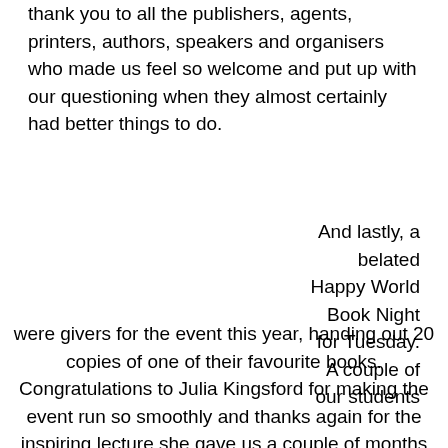thank you to all the publishers, agents, printers, authors, speakers and organisers who made us feel so welcome and put up with our questioning when they almost certainly had better things to do.
And lastly, a belated Happy World Book Night for Tuesday. A couple of our students were givers for the event this year, handing out 20 copies of one of their favourite books. Congratulations to Julia Kingsford for making the event run so smoothly and thanks again for the inspiring lecture she gave us a couple of months ago. Long may WBN continue!